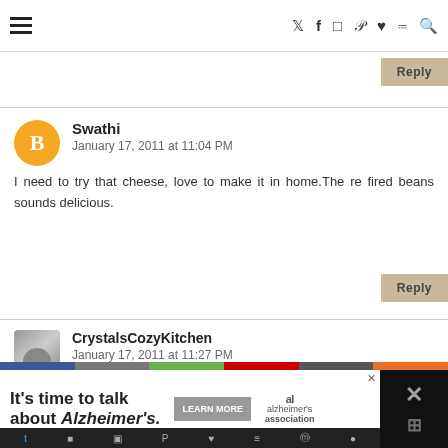Navigation bar with hamburger menu and social icons: twitter, facebook, instagram, pinterest, heart, rss, search
Reply
Swathi
January 17, 2011 at 11:04 PM
I need to try that cheese, love to make it in home.The re fired beans sounds delicious.
Reply
CrystalsCozyKitchen
January 17, 2011 at 11:27 PM
I've been wanting to make Queso Fresco lately… and I absolutely love the taste of home made refried beans! These both look wonderful - I w
[Figure (infographic): Advertisement banner: It's time to talk about Alzheimer's. with Learn More button and Alzheimer's Association logo, with colorful strip and dark right panel]